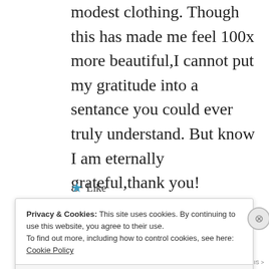modest clothing. Though this has made me feel 100x more beautiful,I cannot put my gratitude into a sentance you could ever truly understand. But know I am eternally grateful,thank you!
★ Like
Privacy & Cookies: This site uses cookies. By continuing to use this website, you agree to their use.
To find out more, including how to control cookies, see here:
Cookie Policy
Close and accept